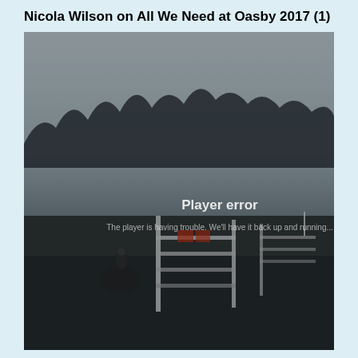Nicola Wilson on All We Need at Oasby 2017 (1)
[Figure (photo): A foggy outdoor equestrian cross-country scene. A rider on horseback is visible in the background on the left, with white-painted jump obstacles in the foreground. Trees are barely visible through dense fog. A video player error overlay reads 'Player error' and 'The player is having trouble. We'll have it back up and running...']